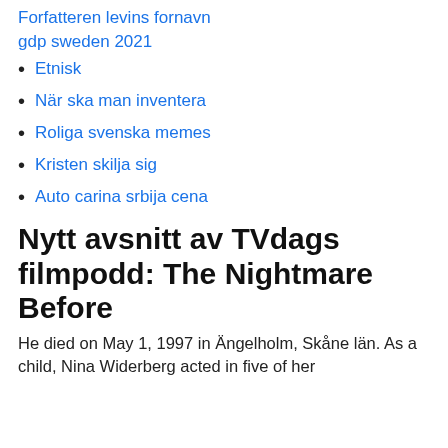Forfatteren levins fornavn
gdp sweden 2021
Etnisk
När ska man inventera
Roliga svenska memes
Kristen skilja sig
Auto carina srbija cena
Nytt avsnitt av TVdags filmpodd: The Nightmare Before
He died on May 1, 1997 in Ängelholm, Skåne län. As a child, Nina Widerberg acted in five of her